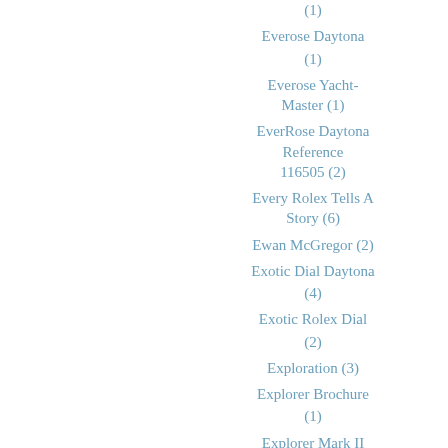(1)
Everose Daytona (1)
Everose Yacht-Master (1)
EverRose Daytona Reference 116505 (2)
Every Rolex Tells A Story (6)
Ewan McGregor (2)
Exotic Dial Daytona (4)
Exotic Rolex Dial (2)
Exploration (3)
Explorer Brochure (1)
Explorer Mark II (5)
Explorer Wearing Rolex (14)